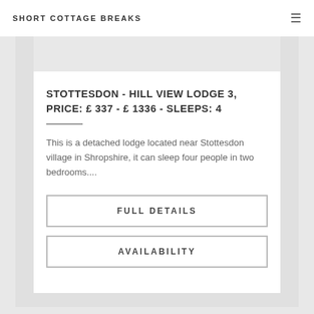SHORT COTTAGE BREAKS
STOTTESDON - HILL VIEW LODGE 3, PRICE: £ 337 - £ 1336 - SLEEPS: 4
This is a detached lodge located near Stottesdon village in Shropshire, it can sleep four people in two bedrooms....
FULL DETAILS
AVAILABILITY